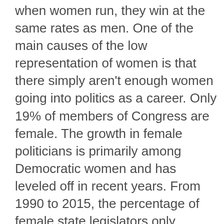when women run, they win at the same rates as men. One of the main causes of the low representation of women is that there simply aren't enough women going into politics as a career. Only 19% of members of Congress are female. The growth in female politicians is primarily among Democratic women and has leveled off in recent years. From 1990 to 2015, the percentage of female state legislators only increased by 4%. In a study of political ambition, women were more than 50 percent more likely than men to assert that they would never run for political office (Lawless & Fox 2). The researchers identified five factors that explain the political ambition gap among college students: women are less likely to be socialized by parents to think of politics as career path, women tend to be exposed to less